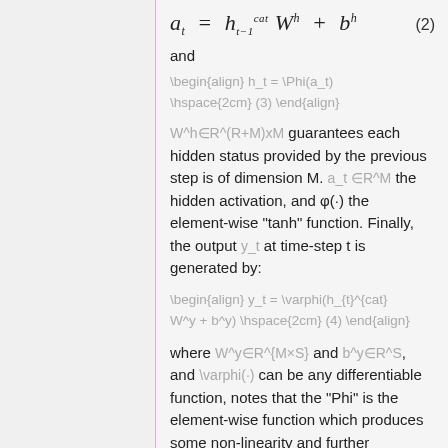and
W^h∈R^(R+M)xM guarantees each hidden status provided by the previous step is of dimension M. a_t ∈R^M the hidden activation, and φ(·) the element-wise "tanh" function. Finally, the output y_t at time-step t is generated by:
where W^y∈R^{M×S} and b^y∈R^S, and \varphi(·) can be any differentiable function, notes that the "Phi" is the element-wise function which produces some non-linearity and further generates